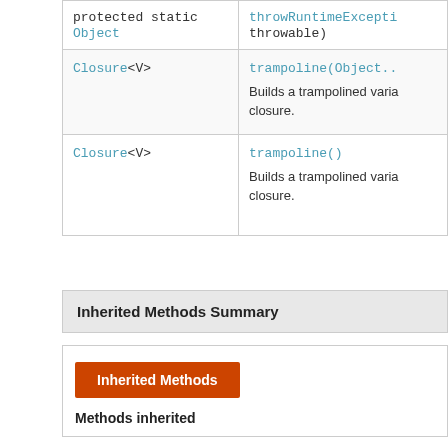| Type | Method and Description |
| --- | --- |
| protected static Object | throwRuntimeException(throwable) |
| Closure<V> | trampoline(Object..)
Builds a trampolined varia closure. |
| Closure<V> | trampoline()
Builds a trampolined varia closure. |
Inherited Methods Summary
| Inherited Methods |
| --- |
| Methods inherited |